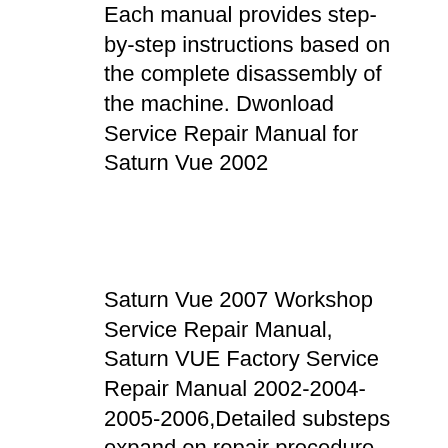Each manual provides step-by-step instructions based on the complete disassembly of the machine. Dwonload Service Repair Manual for Saturn Vue 2002
Saturn Vue 2007 Workshop Service Repair Manual, Saturn VUE Factory Service Repair Manual 2002-2004-2005-2006,Detailed substeps expand on repair procedure. Saturn Vue 2007 Workshop Service Repair Manual, Saturn VUE Factory Service Repair Manual 2002-2004-2005-2006,Detailed substeps expand on repair procedure. ≡ Menu. 2007 VUE SERVICE AND REPAIR MANUAL. Fixing problems in your vehicle is a do-it-approach with the Auto